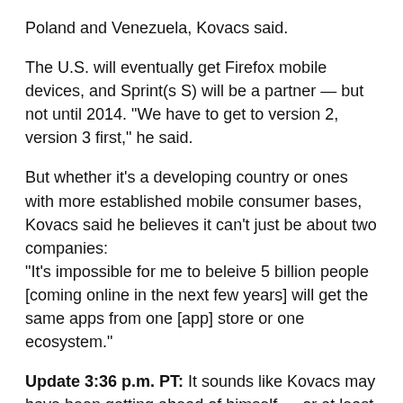Poland and Venezuela, Kovacs said.
The U.S. will eventually get Firefox mobile devices, and Sprint(s S) will be a partner — but not until 2014. "We have to get to version 2, version 3 first," he said.
But whether it's a developing country or ones with more established mobile consumer bases, Kovacs said he believes it can't just be about two companies: "It's impossible for me to beleive 5 billion people [coming online in the next few years] will get the same apps from one [app] store or one ecosystem."
Update 3:36 p.m. PT: It sounds like Kovacs may have been getting ahead of himself — or at least ahead of the information his company wants to announce. A Mozilla spokesperson asked us to update this post with this statement: "As Mozilla announced on February 24th, the